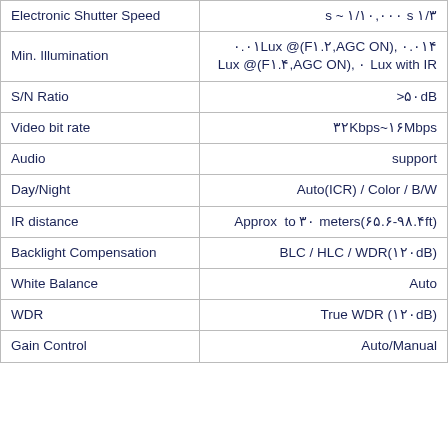| Spec Name | Spec Value |
| --- | --- |
| Electronic Shutter Speed | s ~ ۱/۱۰,۰۰۰ s ۱/۳ |
| Min. Illumination | ۰.۰۱Lux @(F1.۲,AGC ON), ۰.۰۱۴ Lux @(F1.۴,AGC ON), ۰ Lux with IR |
| S/N Ratio | ۵۰dB< |
| Video bit rate | ۳۲Kbps~۱۶Mbps |
| Audio | support |
| Day/Night | Auto(ICR) / Color / B/W |
| IR distance | Approx  to ۳۰ meters(۶۵.۶-۹۸.۴ft) |
| Backlight Compensation | BLC / HLC / WDR(۱۲۰dB) |
| White Balance | Auto |
| WDR | True WDR (۱۲۰dB) |
| Gain Control | Auto/Manual |